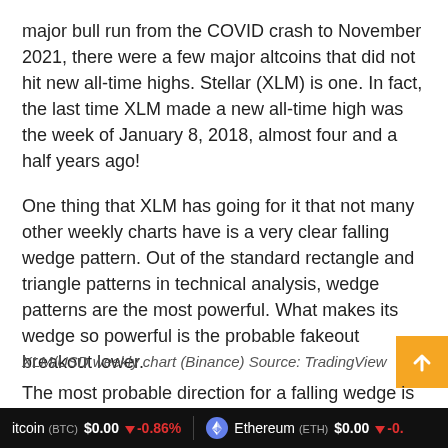major bull run from the COVID crash to November 2021, there were a few major altcoins that did not hit new all-time highs. Stellar (XLM) is one. In fact, the last time XLM made a new all-time high was the week of January 8, 2018, almost four and a half years ago!
One thing that XLM has going for it that not many other weekly charts have is a very clear falling wedge pattern. Out of the standard rectangle and triangle patterns in technical analysis, wedge patterns are the most powerful. What makes its wedge so powerful is the probable fakeout breakout lower.
XLM/USD weekly chart (Binance) Source: TradingView
The most probable direction for a falling wedge is
Bitcoin (BTC) $0.00 ↓ -0.86%   Ethereum (ETH) $0.00 ↓ -0.